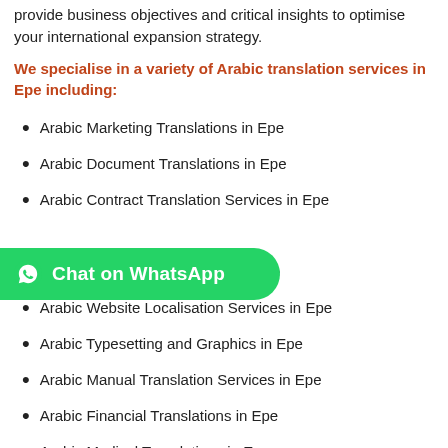provide business objectives and critical insights to optimise your international expansion strategy.
We specialise in a variety of Arabic translation services in Epe including:
Arabic Marketing Translations in Epe
Arabic Document Translations in Epe
Arabic Contract Translation Services in Epe
Arabic Technical Translations in Epe
Arabic Website Localisation Services in Epe
Arabic Typesetting and Graphics in Epe
Arabic Manual Translation Services in Epe
Arabic Financial Translations in Epe
Arabic Medical Translations in Epe
Arabic Legal Translations in Epe